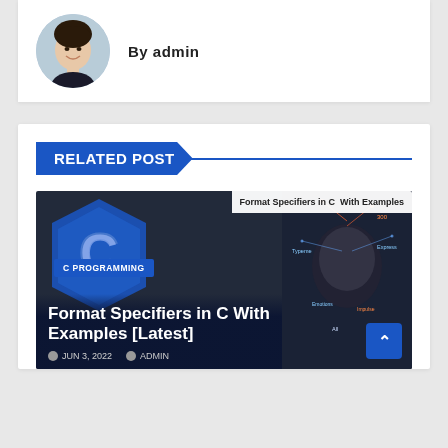By admin
[Figure (photo): Round avatar photo of a woman with dark hair, smiling, wearing a dark top]
RELATED POST
[Figure (screenshot): Post card thumbnail showing C programming hexagon logo with 'Format Specifiers in C With Examples [Latest]' title and JUN 3, 2022 / ADMIN metadata, with a right-side image of a human head silhouette with tech overlays]
Format Specifiers in C  With Examples
Format Specifiers in C With Examples [Latest]
JUN 3, 2022   ADMIN